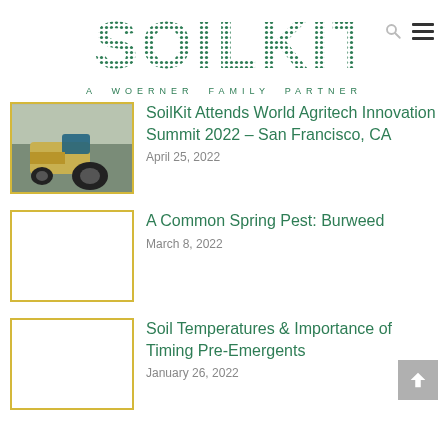[Figure (logo): SOILKIT logo in green dotted/textured letters with 'A WOERNER FAMILY PARTNER' subtitle]
SoilKit Attends World Agritech Innovation Summit 2022 – San Francisco, CA
April 25, 2022
A Common Spring Pest: Burweed
March 8, 2022
Soil Temperatures & Importance of Timing Pre-Emergents
January 26, 2022